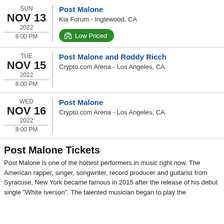SUN NOV 13 2022 8:00 PM — Post Malone — Kia Forum - Inglewood, CA — Low Priced
TUE NOV 15 2022 8:00 PM — Post Malone and Roddy Ricch — Crypto.com Arena - Los Angeles, CA
WED NOV 16 2022 8:00 PM — Post Malone — Crypto.com Arena - Los Angeles, CA
Post Malone Tickets
Post Malone is one of the hottest performers in music right now. The American rapper, singer, songwriter, record producer and guitarist from Syracuse, New York became famous in 2015 after the release of his debut single "White Iverson". The talented musician began to play the